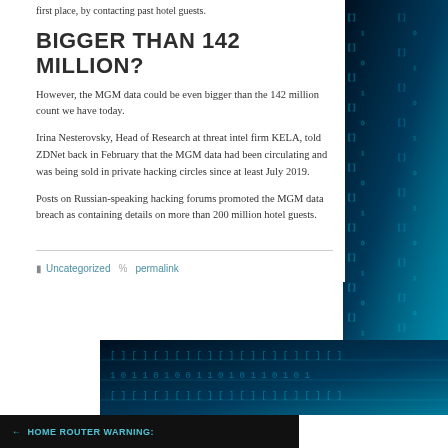first place, by contacting past hotel guests.
BIGGER THAN 142 MILLION?
However, the MGM data could be even bigger than the 142 million count we have today.
Irina Nesterovsky, Head of Research at threat intel firm KELA, told ZDNet back in February that the MGM data had been circulating and was being sold in private hacking circles since at least July 2019.
Posts on Russian-speaking hacking forums promoted the MGM data breach as containing details on more than 200 million hotel guests.
Uncategorized  permalink
[Figure (photo): Blue-toned digital/matrix background image with glowing cyan binary-style patterns, partially visible on right side and bottom of page]
← HOME ROUTER WARNING: